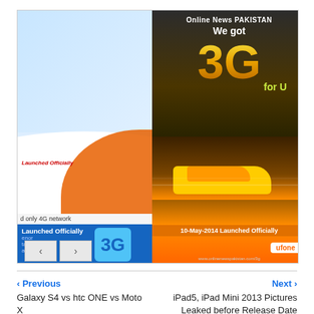[Figure (screenshot): Image gallery / slideshow showing multiple telecom promotional images: a 4G network launch banner, a Ufone 3G launch advertisement (Online News PAKISTAN, We got 3G for U, 10-May-2014 Launched Officially), a blue 3G Launched Officially panel with navigation arrows, and a partially visible 'Welcome to' panel on the right.]
‹ Previous
Next ›
Galaxy S4 vs htc ONE vs Moto X vs LG G2 Specs Comparison Chart
iPad5, iPad Mini 2013 Pictures Leaked before Release Date